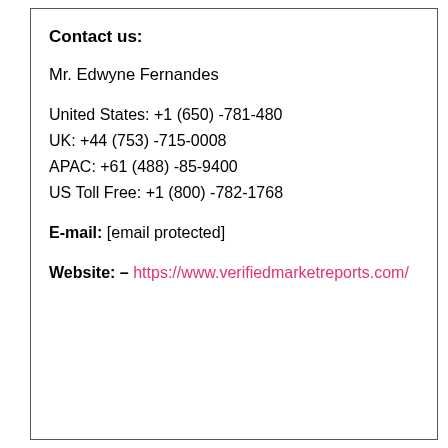Contact us:
Mr. Edwyne Fernandes
United States: +1 (650) -781-480
UK: +44 (753) -715-0008
APAC: +61 (488) -85-9400
US Toll Free: +1 (800) -782-1768
E-mail: [email protected]
Website: – https://www.verifiedmarketreports.com/